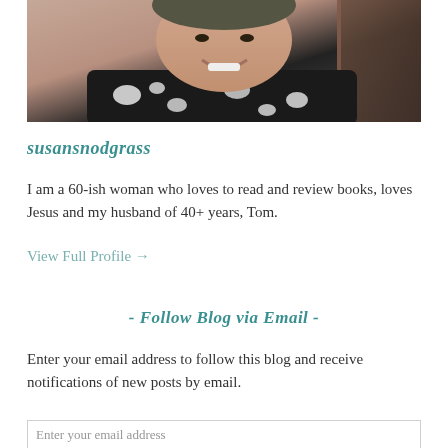[Figure (photo): Portrait photo of a smiling woman wearing a black and white floral top]
susansnodgrass
I am a 60-ish woman who loves to read and review books, loves Jesus and my husband of 40+ years, Tom.
View Full Profile →
- Follow Blog via Email -
Enter your email address to follow this blog and receive notifications of new posts by email.
Enter your email address